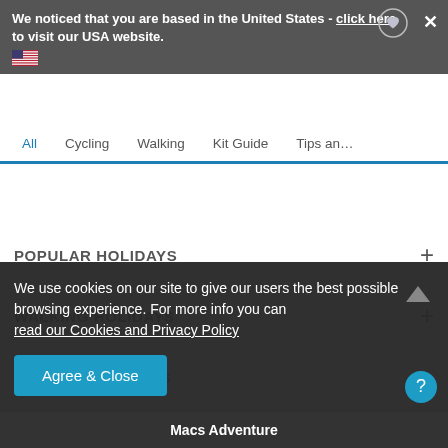We noticed that you are based in the United States - click here to visit our USA website.
All  Cycling  Walking  Kit Guide  Tips an...
POPULAR HOLIDAYS
WALKING HOLIDAYS
CYCLING HOLIDAYS
USEFUL LINKS
We use cookies on our site to give our users the best possible browsing experience. For more info you can read our Cookies and Privacy Policy
Agree & Close
Macs Adventure